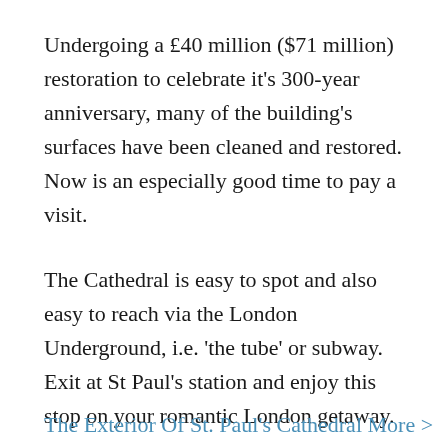Undergoing a £40 million ($71 million) restoration to celebrate it's 300-year anniversary, many of the building's surfaces have been cleaned and restored. Now is an especially good time to pay a visit.
The Cathedral is easy to spot and also easy to reach via the London Underground, i.e. 'the tube' or subway. Exit at St Paul's station and enjoy this stop on your romantic London getaway.
Find the best deal, compare prices, and read what other travelers have to say about St. Paul's Cathedral
The Exterior Of St. Paul's Cathedral More >